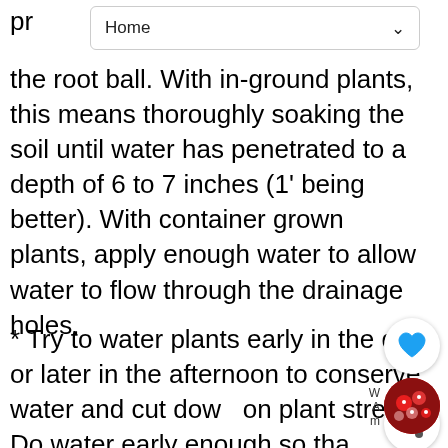[Figure (screenshot): Navigation bar with 'Home' label and dropdown arrow]
the root ball. With in-ground plants, this means thoroughly soaking the soil until water has penetrated to a depth of 6 to 7 inches (1' being better). With container grown plants, apply enough water to allow water to flow through the drainage holes.
* Try to water plants early in the day or later in the afternoon to conserve water and cut down on plant stress. Do water early enough so that water has had a chance to dry from plant leaves prior to night fall. This is paramount if you have had fungus problems.
* Don't wait to water until plants wilt. Although